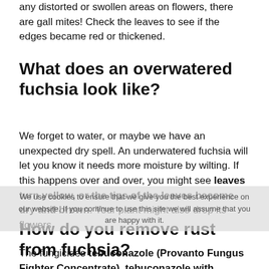any distorted or swollen areas on flowers, there are gall mites! Check the leaves to see if the edges became red or thickened.
What does an overwatered fuchsia look like?
We forget to water, or maybe we have an unexpected dry spell. An underwatered fuchsia will let you know it needs more moisture by wilting. If this happens over and over, you might see leaves turn yellow, or the tips of the leaves become dry and brown. Your plant might also drop its flowers.
How do you remove rust from fuchsia?
The fungicides tebuconazole (Provanto Fungus Fighter Concentrate), tebuconazole with trifloxystrobin (Provanto Fungus Fighter Plus, Toprose Fungus Control & Protect), and triticonazole (Fungus Clear Ultra) are approved for